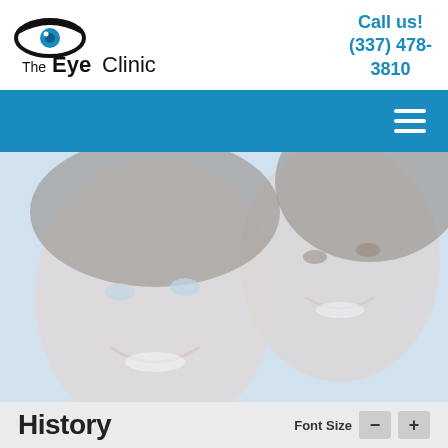[Figure (logo): The Eye Clinic logo with eye icon]
Call us!
(337) 478-3810
[Figure (infographic): Blue navigation bar with hamburger menu icon]
[Figure (photo): Photo of a smiling man and woman, washed out/light toned]
History
Font Size - +